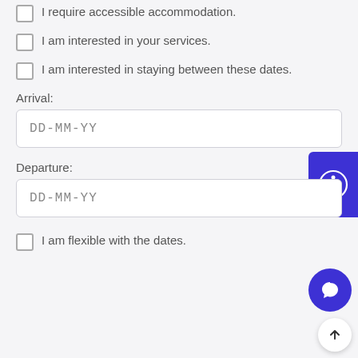I require accessible accommodation.
I am interested in your services.
I am interested in staying between these dates.
Arrival:
DD-MM-YY
Departure:
DD-MM-YY
I am flexible with the dates.